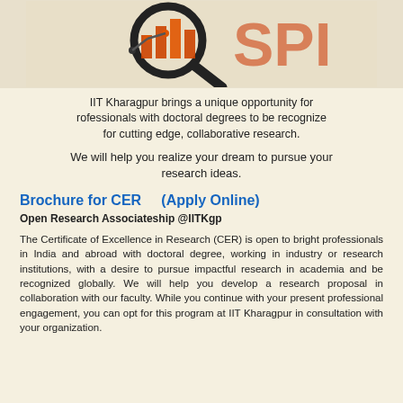[Figure (illustration): Magnifying glass over a data/analytics chart graphic with orange and dark colors, IIT Kharagpur promotional image]
IIT Kharagpur brings a unique opportunity for rofessionals with doctoral degrees to be recognize for cutting edge, collaborative research.
We will help you realize your dream to pursue your research ideas.
Brochure for CER    (Apply Online)
Open Research Associateship @IITKgp
The Certificate of Excellence in Research (CER) is open to bright professionals in India and abroad with doctoral degree, working in industry or research institutions, with a desire to pursue impactful research in academia and be recognized globally. We will help you develop a research proposal in collaboration with our faculty. While you continue with your present professional engagement, you can opt for this program at IIT Kharagpur in consultation with your organization.